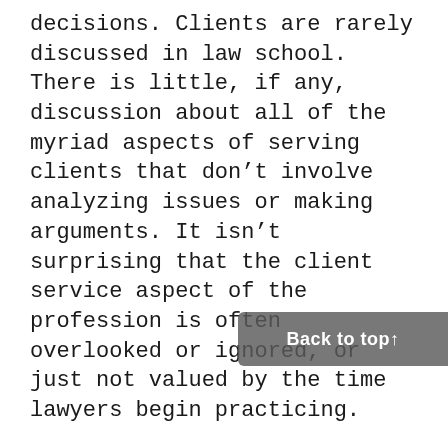decisions. Clients are rarely discussed in law school. There is little, if any, discussion about all of the myriad aspects of serving clients that don't involve analyzing issues or making arguments. It isn't surprising that the client service aspect of the profession is often overlooked or ignored, or just not valued by the time lawyers begin practicing.
Lawyers that practice in large firms after law school have little to no client contact for years, and often see only the small issue they're working on – they're rarely informed about the 'big picture' or the overall strategy involved in the engagement, let alone the client's business strategy or needs outside of that particular matter. To a large extent, lawyers are trained to be backward looking